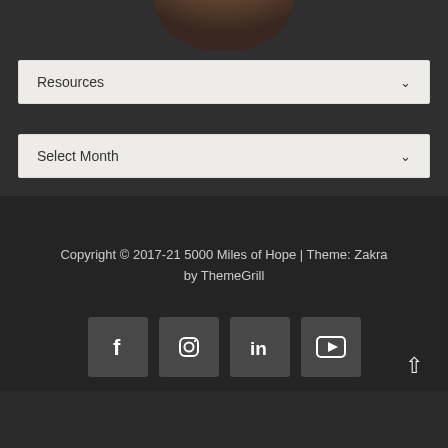[Figure (photo): Partial circular profile photo cropped at top of page, dark brown tones]
Resources ▾
Select Month ▾
Copyright © 2017-21 5000 Miles of Hope | Theme: Zakra by ThemeGrill
[Figure (infographic): Row of four social media icon buttons: Facebook, Instagram, LinkedIn, YouTube]
[Figure (other): Scroll-to-top arrow button in bottom right corner]